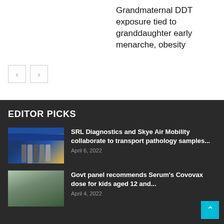[redacted text in non-Latin script]...
Grandmaternal DDT exposure tied to granddaughter early menarche, obesity
< >
EDITOR PICKS
[Figure (photo): Group photo of people at SRL Diagnostics event with banners]
SRL Diagnostics and Skye Air Mobility collaborate to transport pathology samples...
April 6, 2022
[Figure (photo): Vaccination scene with medical worker administering vaccine to masked children]
Govt panel recommends Serum's Covovax dose for kids aged 12 and...
April 4, 2022